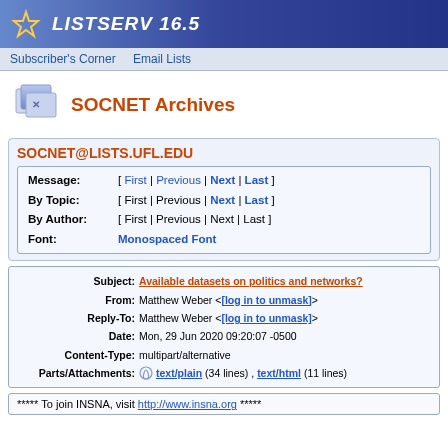LISTSERV 16.5
Subscriber's Corner   Email Lists
SOCNET Archives
SOCNET@LISTS.UFL.EDU
Message: [ First | Previous | Next | Last ]
By Topic: [ First | Previous | Next | Last ]
By Author: [ First | Previous | Next | Last ]
Font: Monospaced Font
Subject: Available datasets on politics and networks?
From: Matthew Weber <[log in to unmask]>
Reply-To: Matthew Weber <[log in to unmask]>
Date: Mon, 29 Jun 2020 09:20:07 -0500
Content-Type: multipart/alternative
Parts/Attachments: text/plain (34 lines) , text/html (11 lines)
***** To join INSNA, visit http://www.insna.org *****